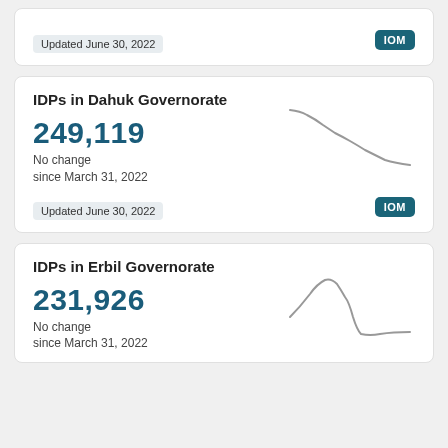Updated June 30, 2022
[Figure (other): IOM badge (top card)]
IDPs in Dahuk Governorate
249,119
No change
since March 31, 2022
[Figure (line-chart): Trend line showing declining IDP count in Dahuk Governorate over time]
Updated June 30, 2022
[Figure (other): IOM badge (Dahuk card)]
IDPs in Erbil Governorate
231,926
No change
since March 31, 2022
[Figure (line-chart): Trend line showing IDP count with peak then decline in Erbil Governorate]